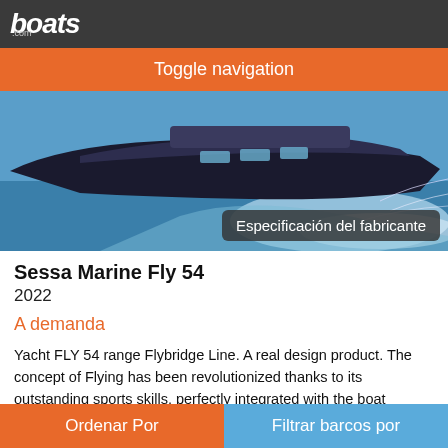boats.com
Toggle navigation
[Figure (photo): A dark-hulled Sessa Marine Fly 54 motorboat speeding through water with white wake spray]
Especificación del fabricante
Sessa Marine Fly 54
2022
A demanda
Yacht FLY 54 range Flybridge Line. A real design product. The concept of Flying has been revolutionized thanks to its outstanding sports skills, perfectly integrated with the boat shapes, which make it one of the most stable and comfortable yachts, where design moves between art and inspiration and where elegance and practicality are like at home with
Ordenar Por | Filtrar barcos por